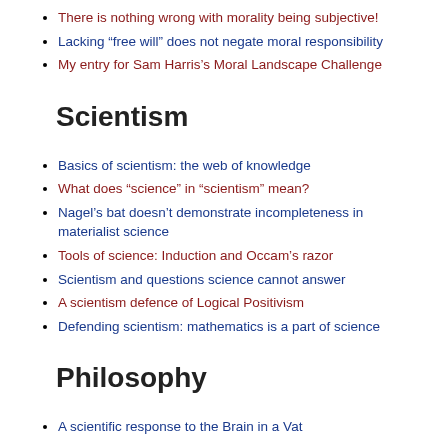There is nothing wrong with morality being subjective!
Lacking “free will” does not negate moral responsibility
My entry for Sam Harris’s Moral Landscape Challenge
Scientism
Basics of scientism: the web of knowledge
What does “science” in “scientism” mean?
Nagel’s bat doesn’t demonstrate incompleteness in materialist science
Tools of science: Induction and Occam’s razor
Scientism and questions science cannot answer
A scientism defence of Logical Positivism
Defending scientism: mathematics is a part of science
Philosophy
A scientific response to the Brain in a Vat